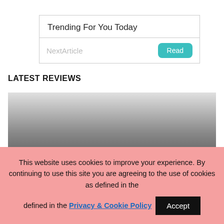Trending For You Today
NextArticle
LATEST REVIEWS
[Figure (photo): Gradient image card with text overlay reading 'Funeral Director']
This website uses cookies to improve your experience. By continuing to use this site you are agreeing to the use of cookies as defined in the Privacy & Cookie Policy
Accept